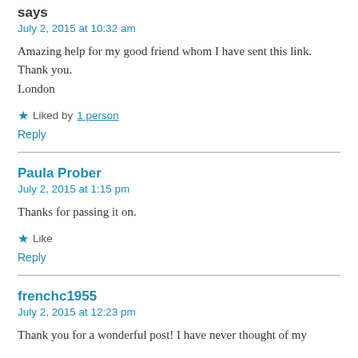says
July 2, 2015 at 10:32 am
Amazing help for my good friend whom I have sent this link. Thank you.
London
★ Liked by 1 person
Reply
Paula Prober
July 2, 2015 at 1:15 pm
Thanks for passing it on.
★ Like
Reply
frenchc1955
July 2, 2015 at 12:23 pm
Thank you for a wonderful post! I have never thought of my